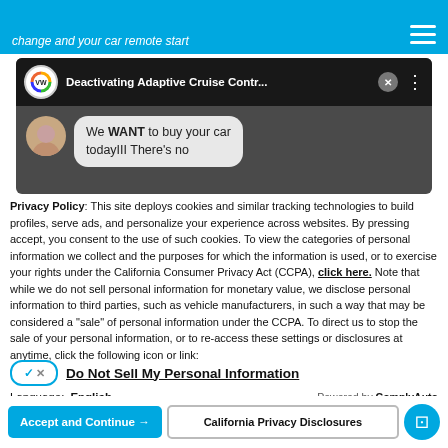change and your car remote start
[Figure (screenshot): Screenshot of a mobile device showing a YouTube notification for 'Deactivating Adaptive Cruise Contr...' with a VW rainbow logo, a close (x) button, and a chat bubble from an avatar saying 'We WANT to buy your car todayIII There's no']
Privacy Policy: This site deploys cookies and similar tracking technologies to build profiles, serve ads, and personalize your experience across websites. By pressing accept, you consent to the use of such cookies. To view the categories of personal information we collect and the purposes for which the information is used, or to exercise your rights under the California Consumer Privacy Act (CCPA), click here. Note that while we do not sell personal information for monetary value, we disclose personal information to third parties, such as vehicle manufacturers, in such a way that may be considered a "sale" of personal information under the CCPA. To direct us to stop the sale of your personal information, or to re-access these settings or disclosures at anytime, click the following icon or link:
Do Not Sell My Personal Information
Language: English    Powered by ComplyAuto
Accept and Continue →    California Privacy Disclosures